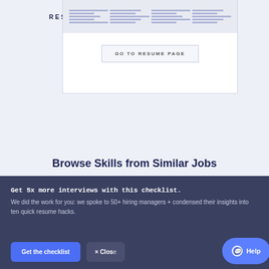RESUME WORDED  |  SKILL PROFILE
[Figure (screenshot): A small resume document thumbnail preview shown inside a white card panel, with a 'GO TO RESUME PAGE' button below it.]
Browse Skills from Similar Jobs
Get 5x more interviews with this checklist.
We did the work for you: we spoke to 50+ hiring managers + condensed their insights into ten quick resume hacks.
Get the checklist
× Close
Help